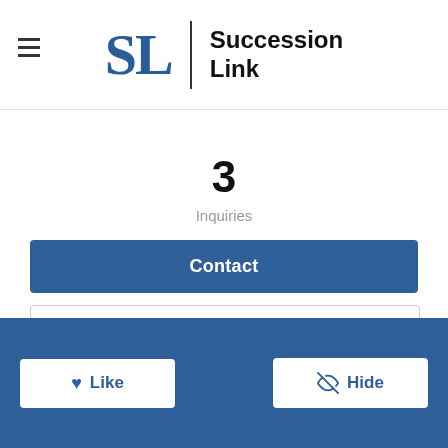SL | Succession Link
3
Inquiries
Contact
Calculate Deal Terms
Apply for Financing
Like
Hide